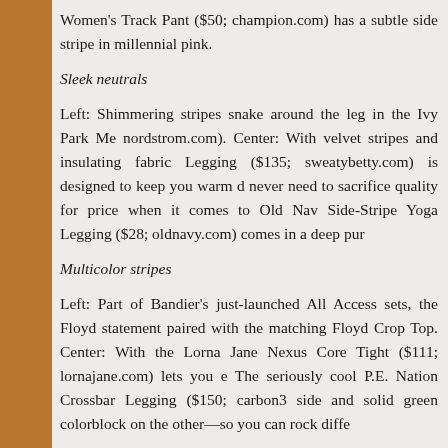Women's Track Pant ($50; champion.com) has a subtle side stripe in millennial pink.
Sleek neutrals
Left: Shimmering stripes snake around the leg in the Ivy Park Me nordstrom.com). Center: With velvet stripes and insulating fabric Legging ($135; sweatybetty.com) is designed to keep you warm never need to sacrifice quality for price when it comes to Old Na Side-Stripe Yoga Legging ($28; oldnavy.com) comes in a deep pur
Multicolor stripes
Left: Part of Bandier's just-launched All Access sets, the Floyd statement paired with the matching Floyd Crop Top. Center: With the Lorna Jane Nexus Core Tight ($111; lornajane.com) lets you e The seriously cool P.E. Nation Crossbar Legging ($150; carbon3 side and solid green colorblock on the other—so you can rock diffe
Stripes + patterns
Left: A solid black side stripe balances out the tropical, surf-ins